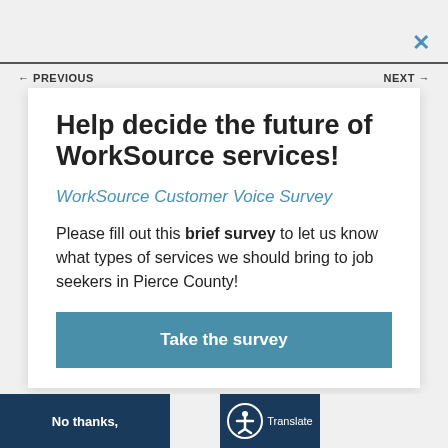← PREVIOUS    NEXT →
Help decide the future of WorkSource services!
WorkSource Customer Voice Survey
Please fill out this brief survey to let us know what types of services we should bring to job seekers in Pierce County!
Take the survey
No thanks, I'm not interested! Please don't ask again